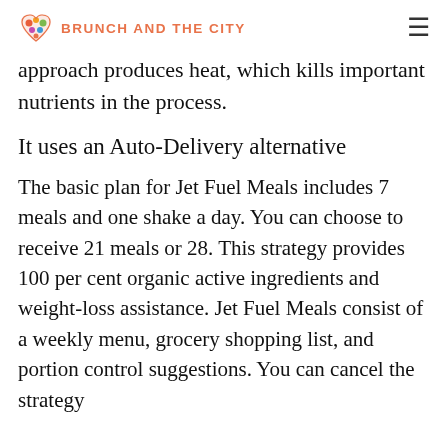BRUNCH AND THE CITY
approach produces heat, which kills important nutrients in the process.
It uses an Auto-Delivery alternative
The basic plan for Jet Fuel Meals includes 7 meals and one shake a day. You can choose to receive 21 meals or 28. This strategy provides 100 per cent organic active ingredients and weight-loss assistance. Jet Fuel Meals consist of a weekly menu, grocery shopping list, and portion control suggestions. You can cancel the strategy